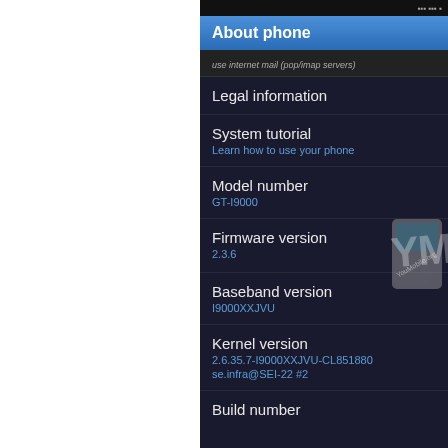[Figure (screenshot): Android phone 'About phone' settings screen showing Legal information, System tutorial, Model number (GT-I9000), Firmware version (2.3.6), Baseband version (I9000XXJVU), Kernel version (2.6.35.7-I9000XXJVU-CL851880 se.infra@SEI-22 #2), and Build number (partially visible). YouMobile.org watermark visible.]